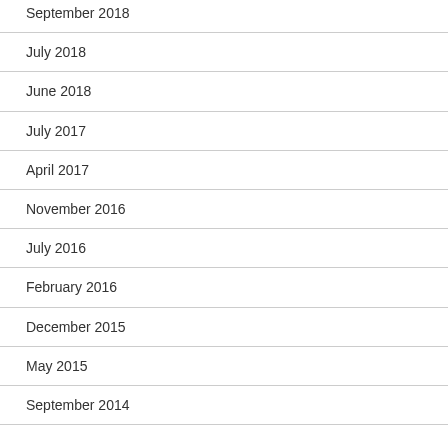September 2018
July 2018
June 2018
July 2017
April 2017
November 2016
July 2016
February 2016
December 2015
May 2015
September 2014